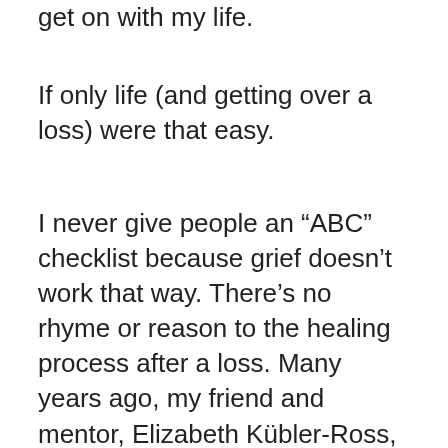get on with my life.
If only life (and getting over a loss) were that easy.
I never give people an “ABC” checklist because grief doesn’t work that way. There’s no rhyme or reason to the healing process after a loss. Many years ago, my friend and mentor, Elizabeth Kübler-Ross, a true pioneer of the hospice movement, wrote about what has come to be widely accepted as the “stages” of grief. And yet, near the end of her life, when we would meet at her home, Elizabeth would tell me her stages were meant to be guideposts, not a cookie-cutter prescription